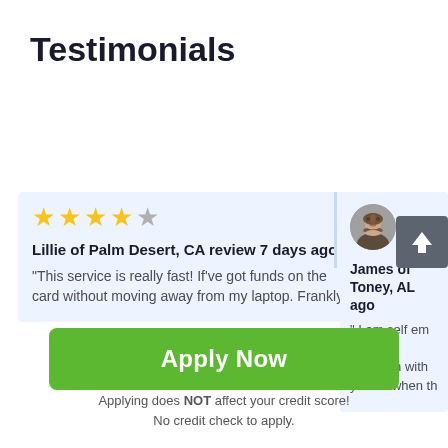Testimonials
Lillie of Palm Desert, CA review 7 days ago
"This service is really fast! If've got funds on the card without moving away from my laptop. Frankly
James of Toney, AL ago
" I am self em trying to establish with you so when th
Apply Now
Applying does NOT affect your credit score!
No credit check to apply.